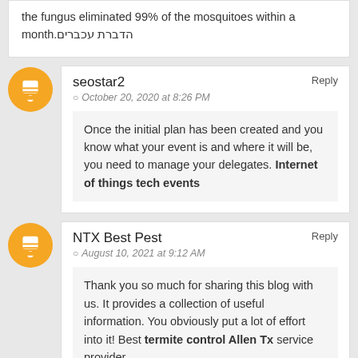the fungus eliminated 99% of the mosquitoes within a month.הדברת עכברים
seostar2
October 20, 2020 at 8:26 PM
Reply
Once the initial plan has been created and you know what your event is and where it will be, you need to manage your delegates. Internet of things tech events
NTX Best Pest
August 10, 2021 at 9:12 AM
Reply
Thank you so much for sharing this blog with us. It provides a collection of useful information. You obviously put a lot of effort into it! Best termite control Allen Tx service provider.